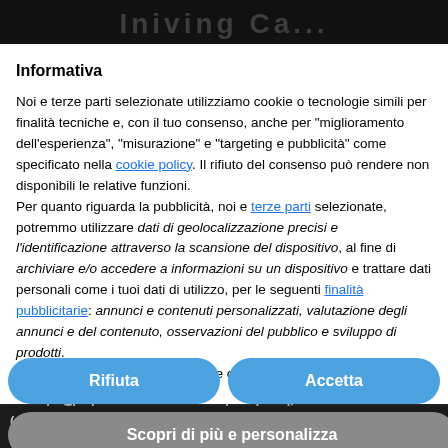[Figure (screenshot): Dark background showing partially visible article text behind a cookie consent modal overlay]
Informativa
Noi e terze parti selezionate utilizziamo cookie o tecnologie simili per finalità tecniche e, con il tuo consenso, anche per "miglioramento dell'esperienza", "misurazione" e "targeting e pubblicità" come specificato nella cookie policy. Il rifiuto del consenso può rendere non disponibili le relative funzioni. Per quanto riguarda la pubblicità, noi e terze parti selezionate, potremmo utilizzare dati di geolocalizzazione precisi e l'identificazione attraverso la scansione del dispositivo, al fine di archiviare e/o accedere a informazioni su un dispositivo e trattare dati personali come i tuoi dati di utilizzo, per le seguenti finalità pubblicitarie: annunci e contenuti personalizzati, valutazione degli annunci e del contenuto, osservazioni del pubblico e sviluppo di prodotti. Puoi liberamente prestare, rifiutare o revocare il tuo consenso, in
chronic hea... is a comp... chain of... that lead to heart to loose its ability to pump blood across all body blood vessels. The he... ...by adrenalin (speeding up heart rate) or acetylcholine (slowing it down)
Rifiuta
Accetta
Scopri di più e personalizza